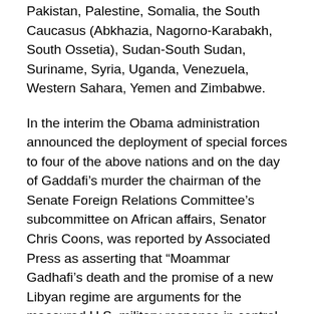Pakistan, Palestine, Somalia, the South Caucasus (Abkhazia, Nagorno-Karabakh, South Ossetia), Sudan-South Sudan, Suriname, Syria, Uganda, Venezuela, Western Sahara, Yemen and Zimbabwe.
In the interim the Obama administration announced the deployment of special forces to four of the above nations and on the day of Gaddafi's murder the chairman of the Senate Foreign Relations Committee's subcommittee on African affairs, Senator Chris Coons, was reported by Associated Press as asserting that “Moammar Gadhafi’s death and the promise of a new Libyan regime are arguments for the measured U.S. military response in central Africa where the U.S. has sent roughly 100 troops” to Uganda, Congo, the Central African Republic and South Sudan.